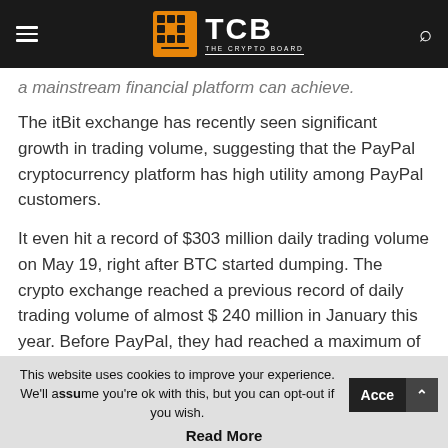TCB THE CRYPTO BOARD
a mainstream financial platform can achieve.
The itBit exchange has recently seen significant growth in trading volume, suggesting that the PayPal cryptocurrency platform has high utility among PayPal customers.
It even hit a record of $303 million daily trading volume on May 19, right after BTC started dumping. The crypto exchange reached a previous record of daily trading volume of almost $ 240 million in January this year. Before PayPal, they had reached a maximum of 60 million US dollars.
PayPal provoked different reactions last year when it announced that its customers can buy, sell and hold Bitcoin on its platform.
This website uses cookies to improve your experience. We'll assume you're ok with this, but you can opt-out if you wish. Accept Read More